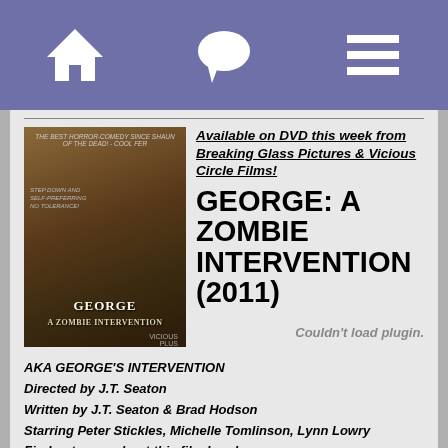[Navigation header with home, chat, and menu icons]
Available on DVD this week from Breaking Glass Pictures & Vicious Circle Films!
[Figure (photo): Movie poster for George: A Zombie Intervention showing a man's back in an orange jacket with people behind him]
GEORGE: A ZOMBIE INTERVENTION (2011)
AKA GEORGE'S INTERVENTION
Directed by J.T. Seaton
Written by J.T. Seaton & Brad Hodson
Starring Peter Stickles, Michelle Tomlinson, Lynn Lowry
Find out more about this film here!
Reviewed by Ambush Bug